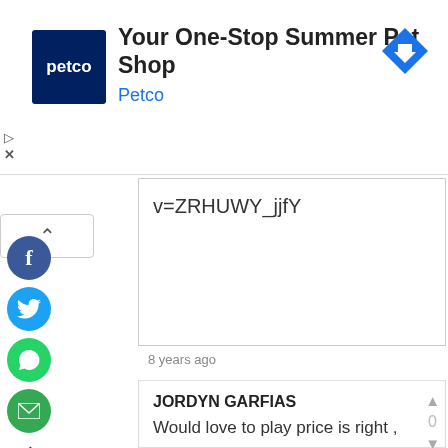[Figure (screenshot): Petco advertisement banner with logo, title 'Your One-Stop Summer Pet Shop', subtitle 'Petco', and a diamond-shaped navigation arrow icon]
v=ZRHUWY_jjfY
8 years ago
JORDYN GARFIAS
Would love to play price is right , please pick me , money would mainly go to a better life for me and my little family ( my son , my baby's father and I. ) we been struggling so bad , we sold almost everything for money even though we stay at my mom's house (she